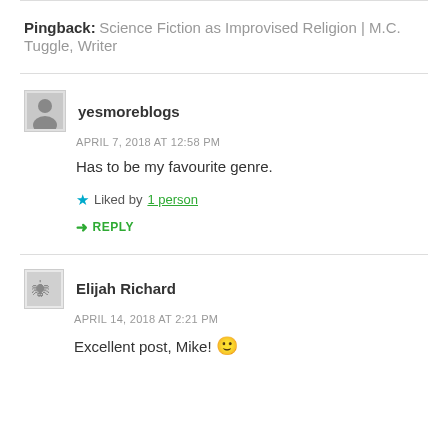Pingback: Science Fiction as Improvised Religion | M.C. Tuggle, Writer
yesmoreblogs
APRIL 7, 2018 AT 12:58 PM
Has to be my favourite genre.
Liked by 1 person
REPLY
Elijah Richard
APRIL 14, 2018 AT 2:21 PM
Excellent post, Mike! 🙂